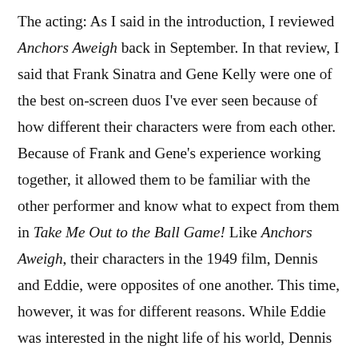The acting: As I said in the introduction, I reviewed Anchors Aweigh back in September. In that review, I said that Frank Sinatra and Gene Kelly were one of the best on-screen duos I've ever seen because of how different their characters were from each other. Because of Frank and Gene's experience working together, it allowed them to be familiar with the other performer and know what to expect from them in Take Me Out to the Ball Game! Like Anchors Aweigh, their characters in the 1949 film, Dennis and Eddie, were opposites of one another. This time, however, it was for different reasons. While Eddie was interested in the night life of his world, Dennis has a quieter soul that seems to notice the finer details within his surroundings.